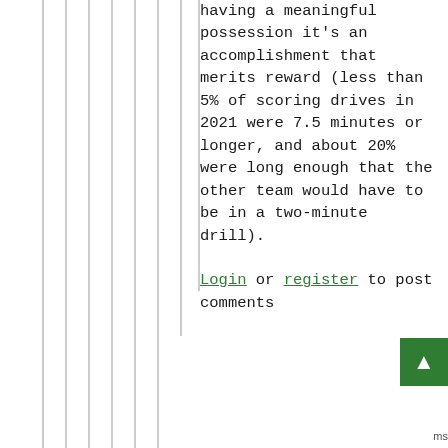having a meaningful possession it's an accomplishment that merits reward (less than 5% of scoring drives in 2021 were 7.5 minutes or longer, and about 20% were long enough that the other team would have to be in a two-minute drill).
Login or register to post comments